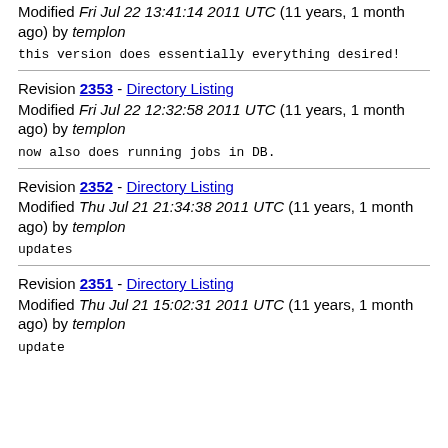Modified Fri Jul 22 13:41:14 2011 UTC (11 years, 1 month ago) by templon
this version does essentially everything desired!
Revision 2353 - Directory Listing
Modified Fri Jul 22 12:32:58 2011 UTC (11 years, 1 month ago) by templon
now also does running jobs in DB.
Revision 2352 - Directory Listing
Modified Thu Jul 21 21:34:38 2011 UTC (11 years, 1 month ago) by templon
updates
Revision 2351 - Directory Listing
Modified Thu Jul 21 15:02:31 2011 UTC (11 years, 1 month ago) by templon
update